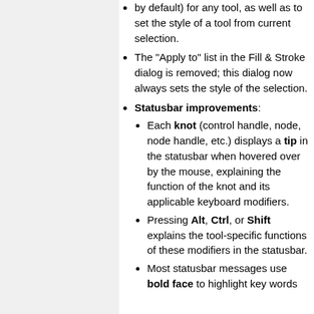by default) for any tool, as well as to set the style of a tool from current selection.
The "Apply to" list in the Fill & Stroke dialog is removed; this dialog now always sets the style of the selection.
Statusbar improvements:
Each knot (control handle, node, node handle, etc.) displays a tip in the statusbar when hovered over by the mouse, explaining the function of the knot and its applicable keyboard modifiers.
Pressing Alt, Ctrl, or Shift explains the tool-specific functions of these modifiers in the statusbar.
Most statusbar messages use bold face to highlight key words